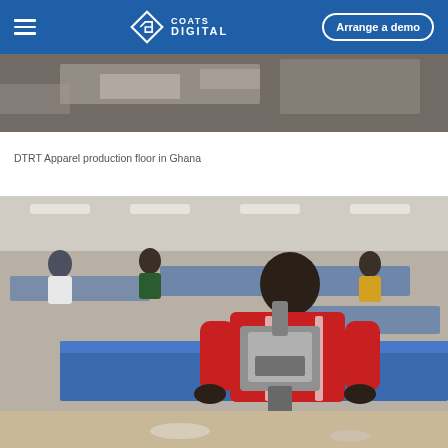Coats Digital — Arrange a demo
[Figure (photo): DTRT Apparel production floor in Ghana — overhead/partial view of a workspace with fabric and tables]
DTRT Apparel production floor in Ghana
[Figure (photo): Worker in a red jersey operating an industrial cutting machine on a blue cutting table in an apparel factory in Ghana, with other workers visible in the background]